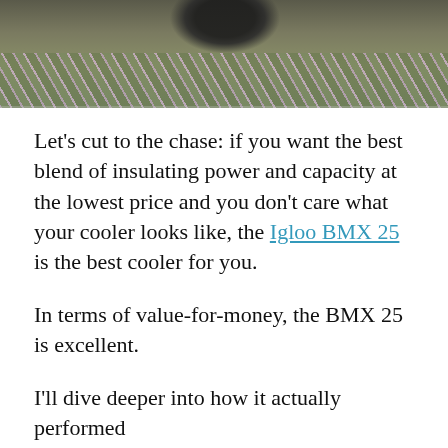[Figure (photo): Partial photo of a cooler or object on ground covered with pink flowers and green moss/grass, viewed from above. Only the bottom portion of the image is visible.]
Let's cut to the chase: if you want the best blend of insulating power and capacity at the lowest price and you don't care what your cooler looks like, the Igloo BMX 25 is the best cooler for you.
In terms of value-for-money, the BMX 25 is excellent.
I'll dive deeper into how it actually performed